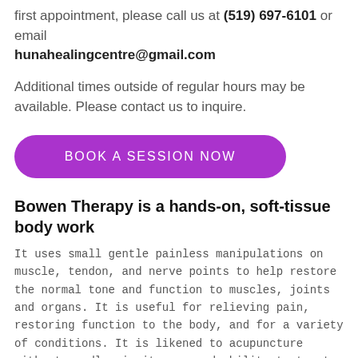first appointment, please call us at (519) 697-6101 or email hunahealingcentre@gmail.com
Additional times outside of regular hours may be available. Please contact us to inquire.
[Figure (other): Purple rounded rectangle button with white uppercase text: BOOK A SESSION NOW]
Bowen Therapy is a hands-on, soft-tissue body work
It uses small gentle painless manipulations on muscle, tendon, and nerve points to help restore the normal tone and function to muscles, joints and organs. It is useful for relieving pain, restoring function to the body, and for a variety of conditions. It is likened to acupuncture without needles in its use and ability to treat multiple symptoms.